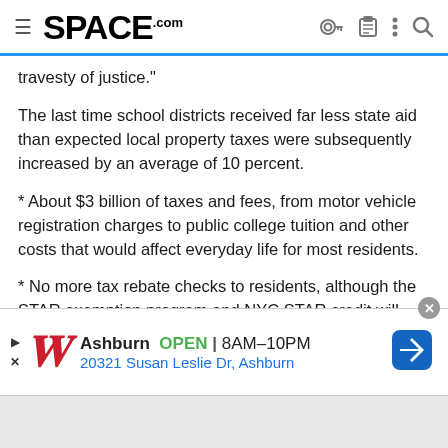SPACE.com
travesty of justice."
The last time school districts received far less state aid than expected local property taxes were subsequently increased by an average of 10 percent.
* About $3 billion of taxes and fees, from motor vehicle registration charges to public college tuition and other costs that would affect everyday life for most residents.
* No more tax rebate checks to residents, although the STAR exemption program and NYC STAR credit will continue to provide $3.3 billion in property tax relief.
[Figure (other): Advertisement banner for Walgreens showing location in Ashburn, OPEN 8AM-10PM, address 20321 Susan Leslie Dr, Ashburn, with navigation arrow icon]